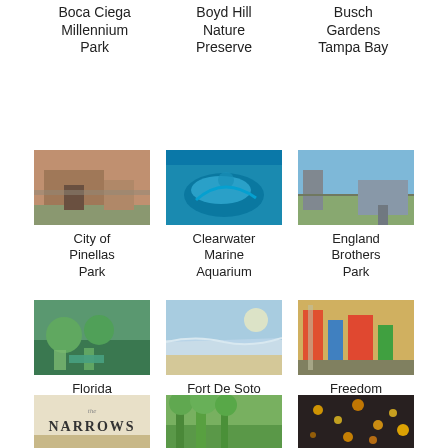Boca Ciega Millennium Park
Boyd Hill Nature Preserve
Busch Gardens Tampa Bay
[Figure (photo): City of Pinellas Park - building exterior photo]
City of Pinellas Park
[Figure (photo): Clearwater Marine Aquarium - dolphin underwater photo]
Clearwater Marine Aquarium
[Figure (photo): England Brothers Park - outdoor park photo]
England Brothers Park
[Figure (photo): Florida Botanical Gardens - garden with chairs photo]
Florida Botanical Gardens
[Figure (photo): Fort De Soto Park - beach photo]
Fort De Soto Park
[Figure (photo): Freedom Lake Park - playground equipment photo]
Freedom Lake Park
[Figure (photo): The Narrows - logo/sign]
[Figure (photo): Partial image - tropical trees]
[Figure (photo): Partial image - colorful lights]